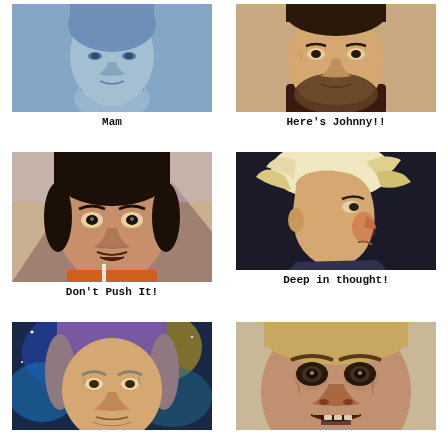[Figure (illustration): Pastel/colored pencil portrait drawing of a woman in blue tones, partial view of chest/neck area, monochromatic blue style]
Mam
[Figure (illustration): Pastel portrait drawing of a bearded man, reminiscent of Jack Nicholson in The Shining, warm tones, looking slightly to the side]
Here's Johnny!!
[Figure (illustration): Pastel portrait drawing of a Rambo-like character with red headband, dark hair, intense expression, orange/brown tones]
Don't Push It!
[Figure (illustration): Pastel portrait drawing of Donald Trump in profile view, distinctive hair style, dark background, detailed facial features]
Deep in thought!
[Figure (illustration): Pastel portrait drawing of an older person with purple/grey hair against colorful starry background, Einstein-like appearance]
[Figure (illustration): Pastel/colored pencil portrait drawing of a man with short blonde hair, zombie-like or creature appearance, detailed skin texture]